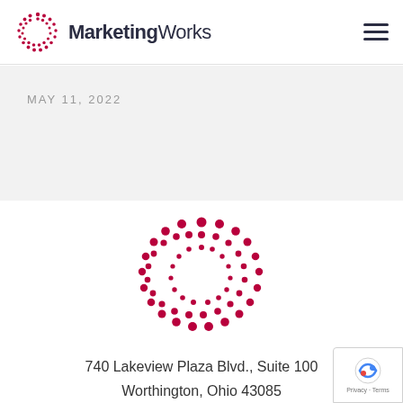MarketingWorks
MAY 11, 2022
[Figure (logo): MarketingWorks circular dot logo, large, centered on page]
740 Lakeview Plaza Blvd., Suite 100
Worthington, Ohio 43085